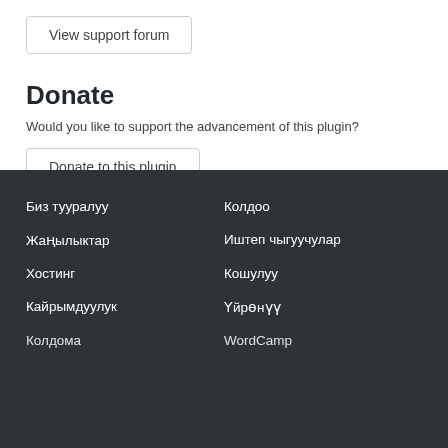View support forum
Donate
Would you like to support the advancement of this plugin?
Donate to this plugin
Биз тууралуу
Колдоо
Жаңылыктар
Иштеп чыгуучулар
Хостинг
Кошулуу
Кайрымдуулук
Үйрөнүү
Колдома
WordCamp